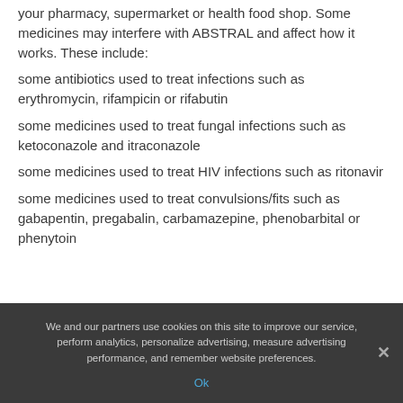your pharmacy, supermarket or health food shop. Some medicines may interfere with ABSTRAL and affect how it works. These include:
some antibiotics used to treat infections such as erythromycin, rifampicin or rifabutin
some medicines used to treat fungal infections such as ketoconazole and itraconazole
some medicines used to treat HIV infections such as ritonavir
some medicines used to treat convulsions/fits such as gabapentin, pregabalin, carbamazepine, phenobarbital or phenytoin
We and our partners use cookies on this site to improve our service, perform analytics, personalize advertising, measure advertising performance, and remember website preferences.
Ok